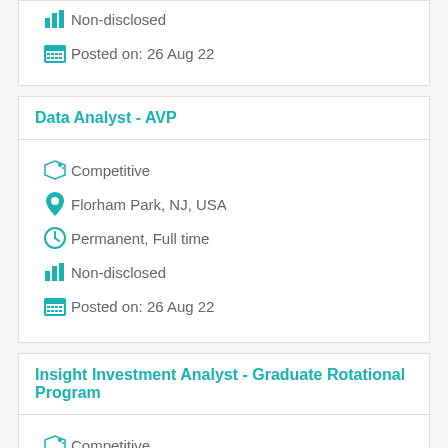Non-disclosed
Posted on: 26 Aug 22
Data Analyst - AVP
Competitive
Florham Park, NJ, USA
Permanent, Full time
Non-disclosed
Posted on: 26 Aug 22
Insight Investment Analyst - Graduate Rotational Program
Competitive
Boston, MA, USA
Permanent, Full time